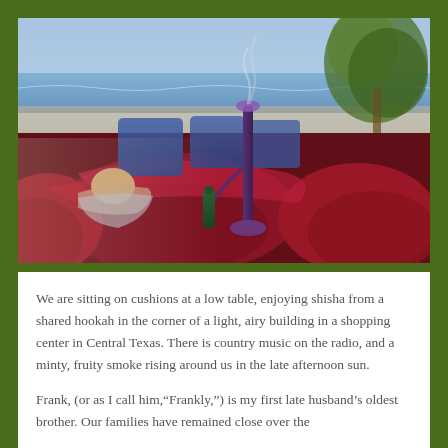[Figure (photo): A beach scene with a person lying back on large dark red/maroon cushions. Blue cushions and chairs visible in background. A hookah pipe stands in the center, a green bottle sits nearby. A white vase with plants is on the right. The ocean and sky are visible in the background.]
We are sitting on cushions at a low table, enjoying shisha from a shared hookah in the corner of a light, airy building in a shopping center in Central Texas. There is country music on the radio, and a minty, fruity smoke rising around us in the late afternoon sun.
Frank, (or as I call him,'Frankly,') is my first late husband's oldest brother. Our families have remained close over the